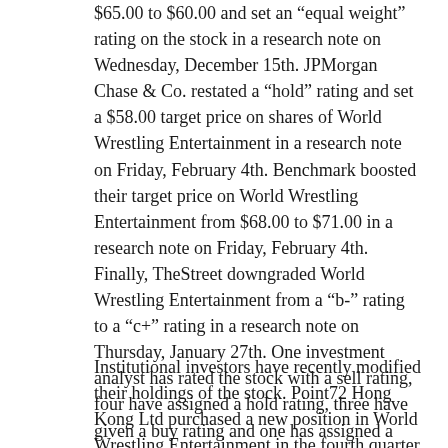$65.00 to $60.00 and set an “equal weight” rating on the stock in a research note on Wednesday, December 15th. JPMorgan Chase & Co. restated a “hold” rating and set a $58.00 target price on shares of World Wrestling Entertainment in a research note on Friday, February 4th. Benchmark boosted their target price on World Wrestling Entertainment from $68.00 to $71.00 in a research note on Friday, February 4th. Finally, TheStreet downgraded World Wrestling Entertainment from a “b-” rating to a “c+” rating in a research note on Thursday, January 27th. One investment analyst has rated the stock with a sell rating, four have assigned a hold rating, three have given a buy rating and one has assigned a strong buy rating to the company’s stock. According to data from MarketBeat.com, the stock currently has an average rating of “Hold” and an average price target of $60.60.
Institutional investors have recently modified their holdings of the stock. Point72 Hong Kong Ltd purchased a new position in World Wrestling Entertainment in the fourth quarter worth approximately $47,000. O...